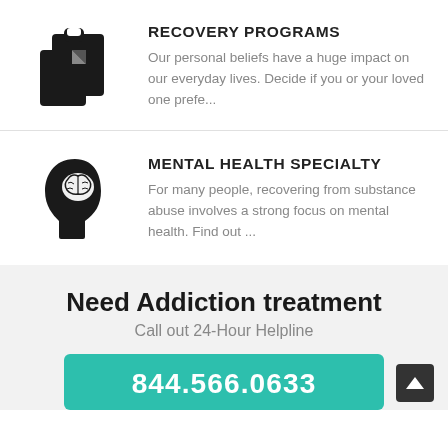[Figure (illustration): Clipboard with document icon, black silhouette]
RECOVERY PROGRAMS
Our personal beliefs have a huge impact on our everyday lives. Decide if you or your loved one prefe...
[Figure (illustration): Human head silhouette with brain visible, black silhouette]
MENTAL HEALTH SPECIALTY
For many people, recovering from substance abuse involves a strong focus on mental health. Find out ...
Need Addiction treatment
Call out 24-Hour Helpline
844.566.0633